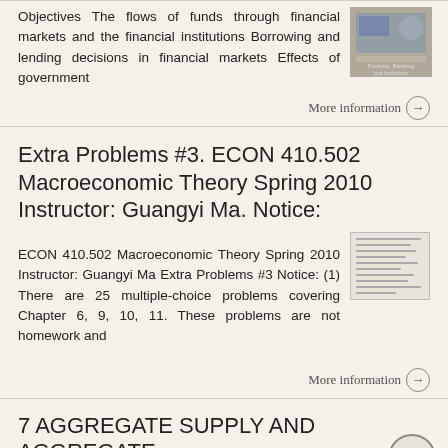Objectives The flows of funds through financial markets and the financial institutions Borrowing and lending decisions in financial markets Effects of government
More information →
Extra Problems #3. ECON 410.502 Macroeconomic Theory Spring 2010 Instructor: Guangyi Ma. Notice:
ECON 410.502 Macroeconomic Theory Spring 2010 Instructor: Guangyi Ma Extra Problems #3 Notice: (1) There are 25 multiple-choice problems covering Chapter 6, 9, 10, 11. These problems are not homework and
More information →
7 AGGREGATE SUPPLY AND AGGREGATE DEMANDk6 Chapter Knowledge Outline